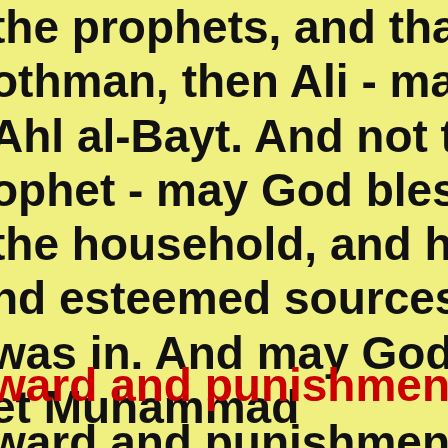the prophets, and that othman, then Ali - may Ahl al-Bayt. And not to ophet - may God bless the household, and he nd esteemed sources, was in. And may God's et Muhammad
ward and punishment
ward and punishment